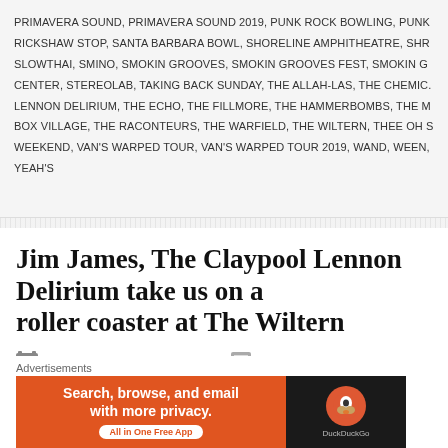PRIMAVERA SOUND, PRIMAVERA SOUND 2019, PUNK ROCK BOWLING, PUNK RICKSHAW STOP, SANTA BARBARA BOWL, SHORELINE AMPHITHEATRE, SHR SLOWTHAI, SMINO, SMOKIN GROOVES, SMOKIN GROOVES FEST, SMOKIN G CENTER, STEREOLAB, TAKING BACK SUNDAY, THE ALLAH-LAS, THE CHEMIC. LENNON DELIRIUM, THE ECHO, THE FILLMORE, THE HAMMERBOMBS, THE M BOX VILLAGE, THE RACONTEURS, THE WARFIELD, THE WILTERN, THEE OH S WEEKEND, VAN'S WARPED TOUR, VAN'S WARPED TOUR 2019, WAND, WEEN, YEAH'S
Jim James, The Claypool Lennon Delirium take us on a roller coaster at The Wiltern
JULY 8, 2019 BY JOSH HERWITT   LEAVE A COMMENT
[Figure (photo): Dark green/black article header image, partially visible at bottom of page]
Advertisements
[Figure (screenshot): DuckDuckGo advertisement banner: orange left side with text 'Search, browse, and email with more privacy. All in One Free App', black right side with DuckDuckGo duck logo icon and DuckDuckGo label]